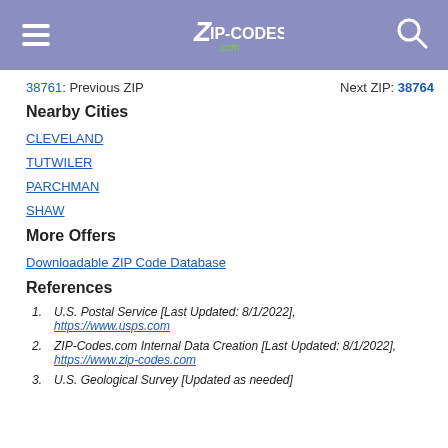ZIP-CODES.com header with navigation
38761: Previous ZIP   Next ZIP: 38764
Nearby Cities
CLEVELAND
TUTWILER
PARCHMAN
SHAW
More Offers
Downloadable ZIP Code Database
References
1. U.S. Postal Service [Last Updated: 8/1/2022], https://www.usps.com
2. ZIP-Codes.com Internal Data Creation [Last Updated: 8/1/2022], https://www.zip-codes.com
3. U.S. Geological Survey [Updated as needed]